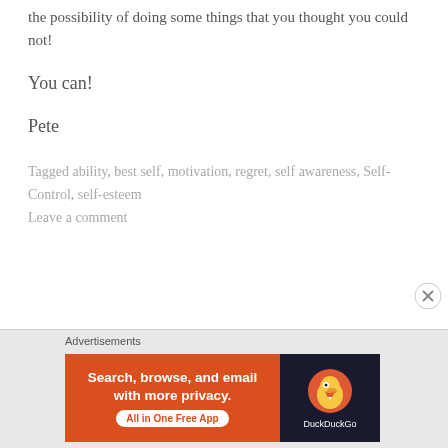the possibility of doing some things that you thought you could not!
You can!
Pete
Tagged ability, best self, motivation, regret, self awareness, Self-Control, self-esteem
Leave a comment
[Figure (screenshot): DuckDuckGo advertisement banner: orange left panel with text 'Search, browse, and email with more privacy. All in One Free App' and dark right panel with DuckDuckGo duck logo and brand name.]